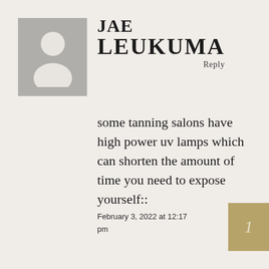[Figure (illustration): Gray placeholder avatar image showing a person silhouette]
JAE LEUKUMA
Reply
some tanning salons have high power uv lamps which can shorten the amount of time you need to expose yourself::
February 3, 2022 at 12:17 pm